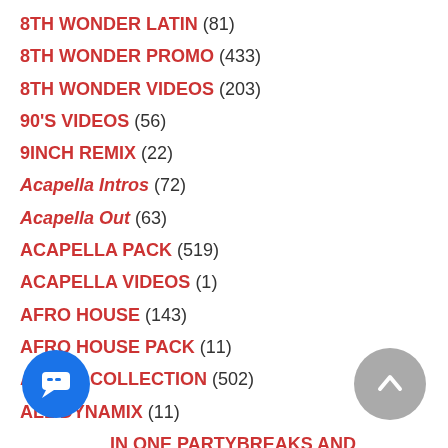8TH WONDER LATIN (81)
8TH WONDER PROMO (433)
8TH WONDER VIDEOS (203)
90'S VIDEOS (56)
9INCH REMIX (22)
Acapella Intros (72)
Acapella Out (63)
ACAPELLA PACK (519)
ACAPELLA VIDEOS (1)
AFRO HOUSE (143)
AFRO HOUSE PACK (11)
ALBUM COLLECTION (502)
ALL DYNAMIX (11)
ALL IN ONE PARTYBREAKS AND REMIXES (74)
ALTERNATIVE PACK (1)